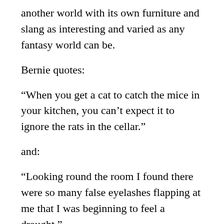another world with its own furniture and slang as interesting and varied as any fantasy world can be.
Bernie quotes:
“When you get a cat to catch the mice in your kitchen, you can’t expect it to ignore the rats in the cellar.”
and:
“Looking round the room I found there were so many false eyelashes flapping at me that I was beginning to feel a draught.”
Please note: I could have cheated for the sake of political correctness and included references to private investigators ‘Kinsey Malone’, and ‘VI Paretsky’ – who I love – or female action heroes like